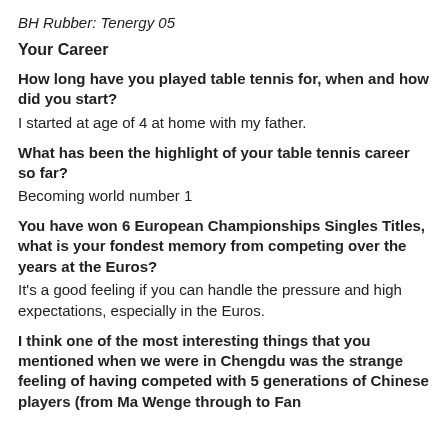BH Rubber: Tenergy 05
Your Career
How long have you played table tennis for, when and how did you start?
I started at age of 4 at home with my father.
What has been the highlight of your table tennis career so far?
Becoming world number 1
You have won 6 European Championships Singles Titles, what is your fondest memory from competing over the years at the Euros?
It's a good feeling if you can handle the pressure and high expectations, especially in the Euros.
I think one of the most interesting things that you mentioned when we were in Chengdu was the strange feeling of having competed with 5 generations of Chinese players (from Ma Wenge through to Fan